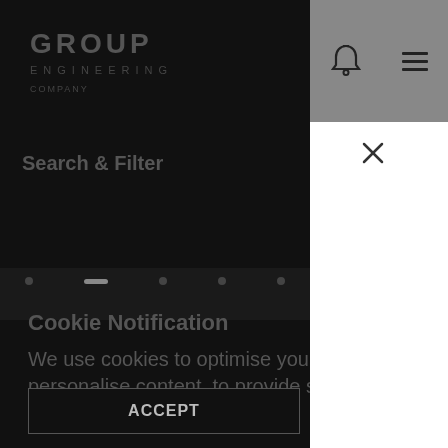[Figure (screenshot): Mobile app screenshot showing a dark-themed interface with a navigation header containing a logo, bell icon, and hamburger menu. A 'Search & Filter' label is visible. A white modal panel appears on the right side with a close (X) button. A cookie notification overlay is displayed at the bottom with title 'Cookie Notification', descriptive text about cookies, an ACCEPT button, and a MANAGE link.]
Search & Filter
Cookie Notification
We use cookies to optimise your experience on our website, including to personalise content, to provide social media features and to analyse traffic.  Cookie Policy.
ACCEPT
MANAGE